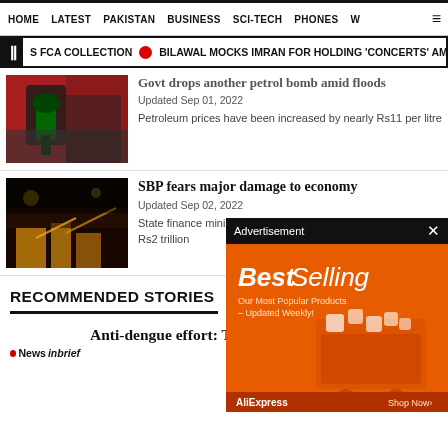HOME  LATEST  PAKISTAN  BUSINESS  SCI-TECH  PHONES  W
S FCA COLLECTION  BILAWAL MOCKS IMRAN FOR HOLDING 'CONCERTS' AMID FL
Govt drops another petrol bomb amid floods
Updated Sep 01, 2022
Petroleum prices have been increased by nearly Rs11 per litre
SBP fears major damage to economy
Updated Sep 02, 2022
State finance minis... Rs2 trillion
[Figure (infographic): Advertisement banner showing BestSelling with AliExpress branding on orange background]
RECOMMENDED STORIES
Anti-dengue effort: Three UCs declared sensitive
[Figure (logo): Newsinbrief logo with red dot]